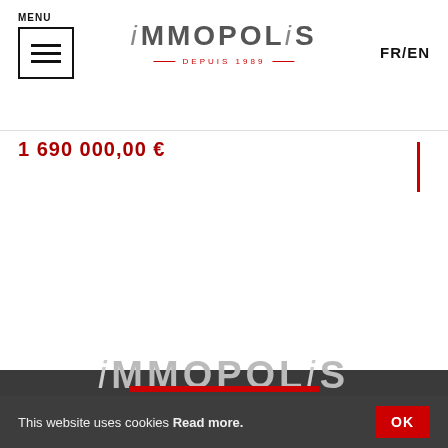MENU | iMMOPOLiS DEPUIS 1989 | FR/EN
1 690 000,00 €
[Figure (logo): iMMOPOLiS DEPUIS 1989 logo in white on dark grey background]
This website uses cookies Read more.
OK